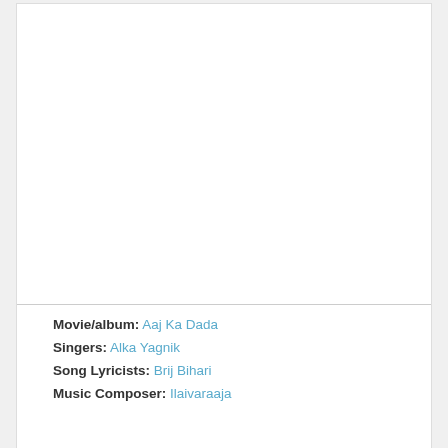[Figure (other): White blank image area at the top of the card]
Movie/album: Aaj Ka Dada
Singers: Alka Yagnik
Song Lyricists: Brij Bihari
Music Composer: Ilaivaraaja